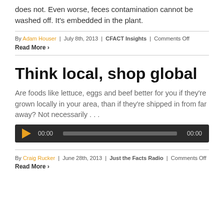does not. Even worse, feces contamination cannot be washed off. It's embedded in the plant.
By Adam Houser | July 8th, 2013 | CFACT Insights | Comments Off
Read More >
Think local, shop global
Are foods like lettuce, eggs and beef better for you if they're grown locally in your area, than if they're shipped in from far away? Not necessarily . . .
[Figure (other): Audio player with play button, time display 00:00, progress bar, and end time 00:00]
By Craig Rucker | June 28th, 2013 | Just the Facts Radio | Comments Off
Read More >